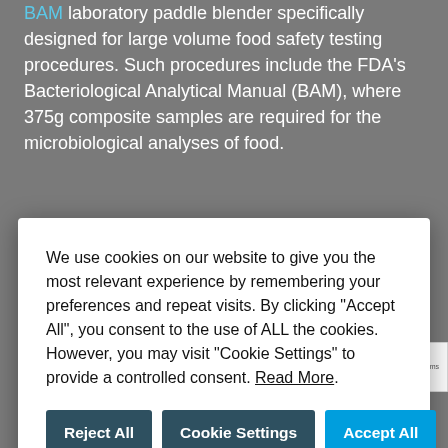BAM laboratory paddle blender specifically designed for large volume food safety testing procedures. Such procedures include the FDA's Bacteriological Analytical Manual (BAM), where 375g composite samples are required for the microbiological analyses of food.
We use cookies on our website to give you the most relevant experience by remembering your preferences and repeat visits. By clicking "Accept All", you consent to the use of ALL the cookies. However, you may visit "Cookie Settings" to provide a controlled consent. Read More.
Laboratory Systems Inc., the North American office of Seward Ltd., as well as its UK global headquarters will be on hand to demonstrate the new products. The full range of Stomacher® blenders and bags will also show. Seward representatives will be ready for discussions on the Stomacher® in the first choice for